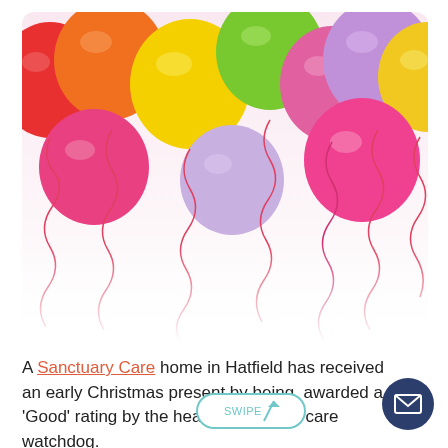[Figure (photo): Colorful helium balloons (red, orange, yellow, green, pink, purple, blue) with curly ribbon strings hanging down, on a white background.]
A Sanctuary Care home in Hatfield has received an early Christmas present by being awarded a 'Good' rating by the health and social care watchdog.